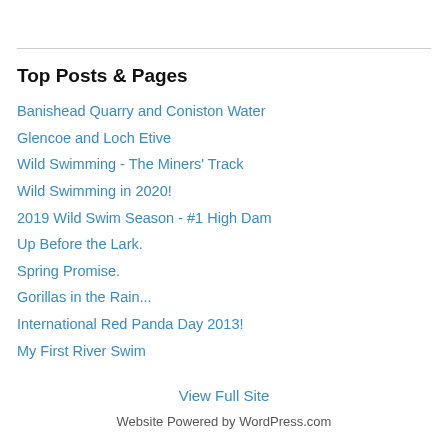Top Posts & Pages
Banishead Quarry and Coniston Water
Glencoe and Loch Etive
Wild Swimming - The Miners' Track
Wild Swimming in 2020!
2019 Wild Swim Season - #1 High Dam
Up Before the Lark.
Spring Promise.
Gorillas in the Rain...
International Red Panda Day 2013!
My First River Swim
View Full Site
Website Powered by WordPress.com